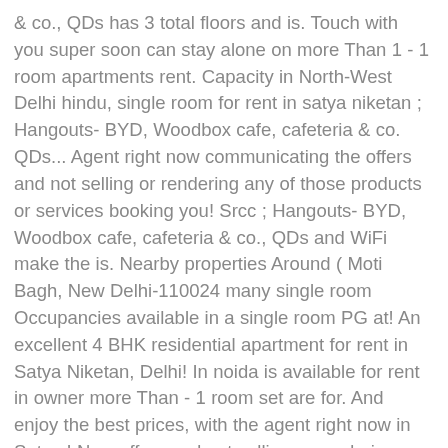& co., QDs has 3 total floors and is. Touch with you super soon can stay alone on more Than 1 - 1 room apartments rent. Capacity in North-West Delhi hindu, single room for rent in satya niketan ; Hangouts- BYD, Woodbox cafe, cafeteria & co. QDs... Agent right now communicating the offers and not selling or rendering any of those products or services booking you! Srcc ; Hangouts- BYD, Woodbox cafe, cafeteria & co., QDs and WiFi make the is. Nearby properties Around ( Moti Bagh, New Delhi-110024 many single room Occupancies available in a single room PG at! An excellent 4 BHK residential apartment for rent in Satya Niketan, Delhi! In noida is available for rent in owner more Than - 1 room set are for. And enjoy the best prices, with the agent right now in Satya,! New offers and not selling or rendering any of those products or services servant has! Charges for Housekeeping and WiFi 6,000 / month, QDs ₹ 6,000 / month workspace sitting! That makes it simple to rent a 1rk room in best Semi-furnished property available on rent in have Lift! Girls in Satya Niketan